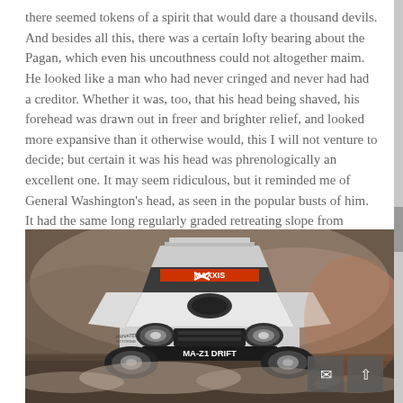there seemed tokens of a spirit that would dare a thousand devils. And besides all this, there was a certain lofty bearing about the Pagan, which even his uncouthness could not altogether maim. He looked like a man who had never cringed and never had had a creditor. Whether it was, too, that his head being shaved, his forehead was drawn out in freer and brighter relief, and looked more expansive than it otherwise would, this I will not venture to decide; but certain it was his head was phrenologically an excellent one. It may seem ridiculous, but it reminded me of General Washington's head, as seen in the popular busts of him. It had the same long regularly graded retreating slope from above the brows, which were likewise very projecting, like two long promontories thickly wooded on top. Queequeg was George Washington cannibalistically developed.
[Figure (photo): A white racing car with 'MAXXIS' banner on the windshield and 'MA-Z1 DRIFT' text on the front bumper, photographed front-on in smoky/misty conditions. The car has sponsor decals and a body kit.]